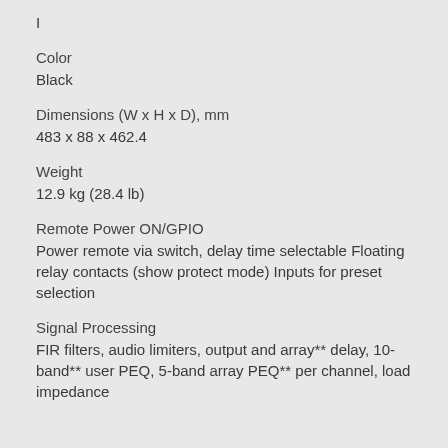I
Color
Black
Dimensions (W x H x D), mm
483 x 88 x 462.4
Weight
12.9 kg (28.4 lb)
Remote Power ON/GPIO
Power remote via switch, delay time selectable Floating relay contacts (show protect mode) Inputs for preset selection
Signal Processing
FIR filters, audio limiters, output and array** delay, 10-band** user PEQ, 5-band array PEQ** per channel, load impedance